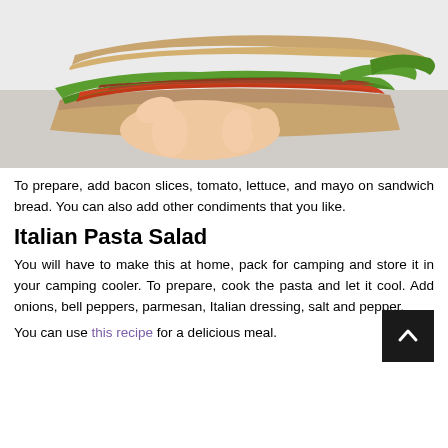[Figure (photo): A hand holding a sandwich with bacon, tomato, lettuce between toasted bread slices, viewed from close up against a light background.]
To prepare, add bacon slices, tomato, lettuce, and mayo on sandwich bread. You can also add other condiments that you like.
Italian Pasta Salad
You will have to make this at home, pack for camping and store it in your camping cooler. To prepare, cook the pasta and let it cool. Add onions, bell peppers, parmesan, Italian dressing, salt and pepper.
You can use this recipe for a delicious meal.